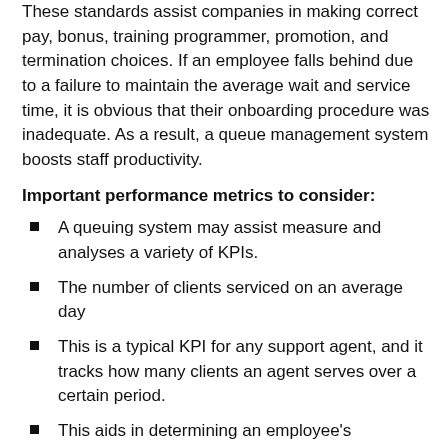These standards assist companies in making correct pay, bonus, training programmer, promotion, and termination choices. If an employee falls behind due to a failure to maintain the average wait and service time, it is obvious that their onboarding procedure was inadequate. As a result, a queue management system boosts staff productivity.
Important performance metrics to consider:
A queuing system may assist measure and analyses a variety of KPIs.
The number of clients serviced on an average day
This is a typical KPI for any support agent, and it tracks how many clients an agent serves over a certain period.
This aids in determining an employee's production and